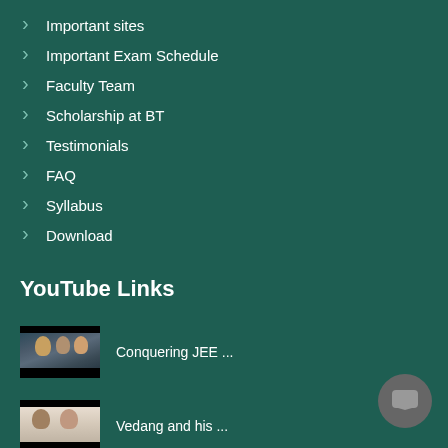Important sites
Important Exam Schedule
Faculty Team
Scholarship at BT
Testimonials
FAQ
Syllabus
Download
YouTube Links
[Figure (photo): Video thumbnail showing people, for Conquering JEE video]
Conquering JEE ...
[Figure (photo): Video thumbnail showing two people, for Vedang and his video]
Vedang and his ...